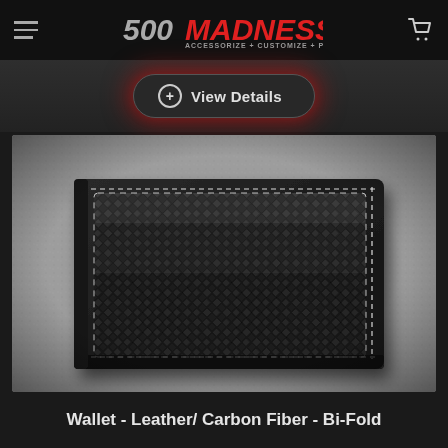500 MADNESS — ACCESSORIZE + CUSTOMIZE + PERSONALIZE
+ View Details
[Figure (photo): A black leather and carbon fiber bi-fold wallet displayed on a textured grey stone surface. The wallet is closed and shows a large carbon fiber panel inset into a black leather exterior with white contrast stitching.]
Wallet - Leather/ Carbon Fiber - Bi-Fold